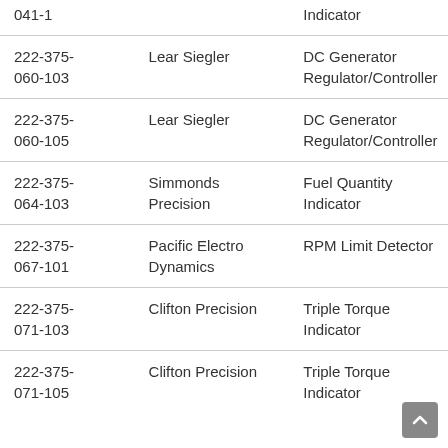| Part Number | Manufacturer | Description |
| --- | --- | --- |
| 041-1 |  | Indicator |
| 222-375-060-103 | Lear Siegler | DC Generator Regulator/Controller |
| 222-375-060-105 | Lear Siegler | DC Generator Regulator/Controller |
| 222-375-064-103 | Simmonds Precision | Fuel Quantity Indicator |
| 222-375-067-101 | Pacific Electro Dynamics | RPM Limit Detector |
| 222-375-071-103 | Clifton Precision | Triple Torque Indicator |
| 222-375-071-105 | Clifton Precision | Triple Torque Indicator |